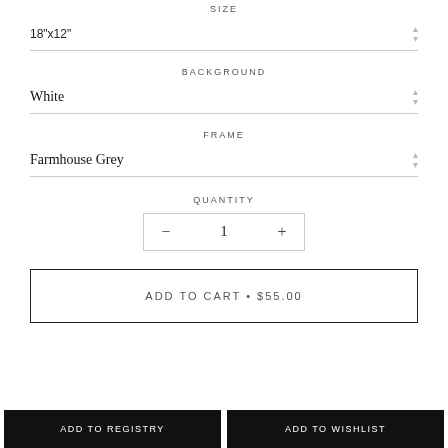SIZE
18"x12"
BACKGROUND
White
FRAME
Farmhouse Grey
QUANTITY
1
ADD TO CART • $55.00
Add to Registry
Add to Wishlist